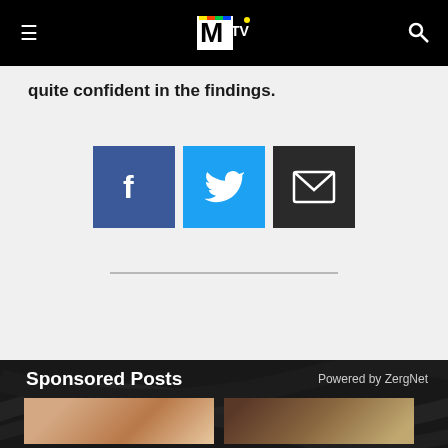MTV (navigation bar with logo, hamburger menu, search icon)
quite confident in the findings.
[Figure (infographic): Three social sharing buttons: Facebook (blue square with f icon), Twitter (light blue square with bird icon), Email (dark square with envelope icon)]
Sponsored Posts
Powered by ZergNet
[Figure (photo): Thumbnail photo of a person (left)]
[Figure (photo): Thumbnail photo of a person (right)]